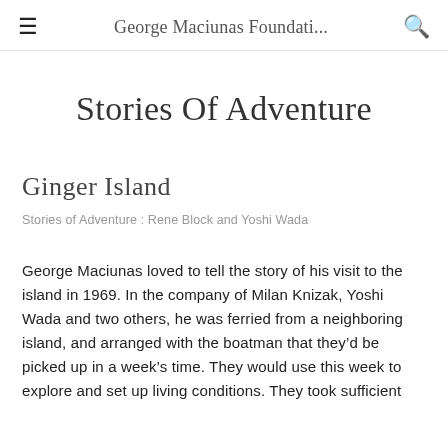George Maciunati...
Stories Of Adventure
Ginger Island
Stories of Adventure : Rene Block and Yoshi Wada
George Maciunas loved to tell the story of his visit to the island in 1969. In the company of Milan Knizak, Yoshi Wada and two others, he was ferried from a neighboring island, and arranged with the boatman that they’d be picked up in a week’s time. They would use this week to explore and set up living conditions. They took sufficient